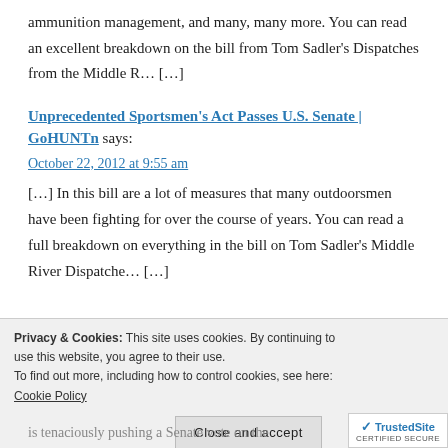ammunition management, and many, many more. You can read an excellent breakdown on the bill from Tom Sadler’s Dispatches from the Middle R… […]
Unprecedented Sportsmen’s Act Passes U.S. Senate | GoHUNTn says:
October 22, 2012 at 9:55 am
[…] In this bill are a lot of measures that many outdoorsmen have been fighting for over the course of years. You can read a full breakdown on everything in the bill on Tom Sadler’s Middle River Dispatche… […]
Privacy & Cookies: This site uses cookies. By continuing to use this website, you agree to their use.
To find out more, including how to control cookies, see here: Cookie Policy
Close and accept
is tenaciously pushing a Senate vote on the